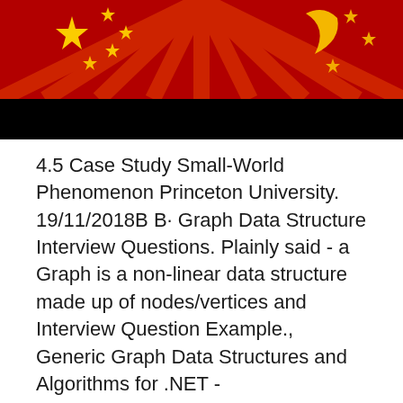[Figure (illustration): Decorative image showing a red background with radiating rays, gold stars, and a crescent moon (similar to Chinese flag imagery), with a black band below it.]
4.5 Case Study Small-World Phenomenon Princeton University. 19/11/2018B B· Graph Data Structure Interview Questions. Plainly said - a Graph is a non-linear data structure made up of nodes/vertices and Interview Question Example., Generic Graph Data Structures and Algorithms for .NET - YaccConstructor/QuickGraph.
GRAPH/GRAPH - simple graph data structure and algorithms connections only traverse edges along the direction of @begin example the edge @end example : Computer Programming - C++